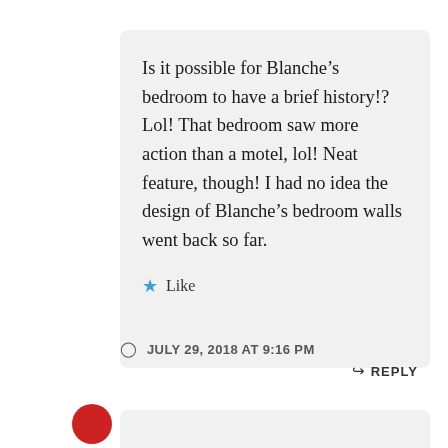Is it possible for Blanche’s bedroom to have a brief history!? Lol! That bedroom saw more action than a motel, lol! Neat feature, though! I had no idea the design of Blanche’s bedroom walls went back so far.
★ Like
JULY 29, 2018 AT 9:16 PM
↪ REPLY